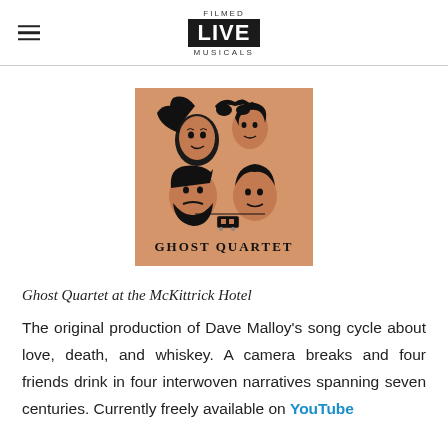FILMED LIVE MUSICALS
[Figure (illustration): Ghost Quartet album/show artwork: tan/orange square background with black ink illustration of four faces merged together with various objects, text 'GHOST QUARTET' in serif capitals at the bottom]
Ghost Quartet at the McKittrick Hotel
The original production of Dave Malloy's song cycle about love, death, and whiskey. A camera breaks and four friends drink in four interwoven narratives spanning seven centuries. Currently freely available on YouTube